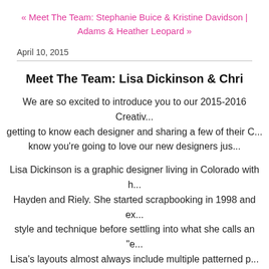« Meet The Team: Stephanie Buice & Kristine Davidson | Adams & Heather Leopard »
April 10, 2015
Meet The Team: Lisa Dickinson & Chri
We are so excited to introduce you to our 2015-2016 Creative team! We are getting to know each designer and sharing a few of their C... know you're going to love our new designers jus...
Lisa Dickinson is a graphic designer living in Colorado with h... Hayden and Riely. She started scrapbooking in 1998 and ex... style and technique before settling into what she calls an "e... Lisa's layouts almost always include multiple patterned p... typography. Her scrapbook designs have been published in v... author of the ebook, Design Workshop. In addition to Bella... Scrapbook & Cards Today magazine, Basic Gre...
To see more of Lisa's work, visit her blo...